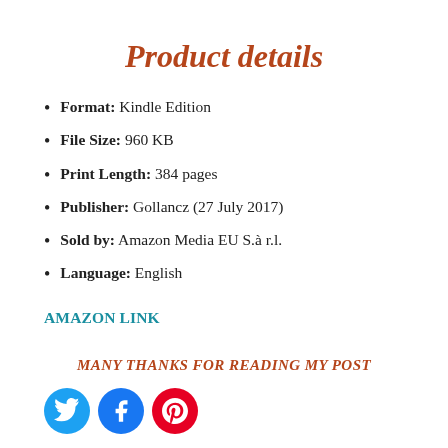Product details
Format: Kindle Edition
File Size: 960 KB
Print Length: 384 pages
Publisher: Gollancz (27 July 2017)
Sold by: Amazon Media EU S.à r.l.
Language: English
AMAZON LINK
MANY THANKS FOR READING MY POST
[Figure (illustration): Three social media icon circles: Twitter (cyan), Facebook (blue), Pinterest (red)]